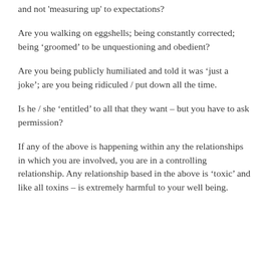and not 'measuring up' to expectations?
Are you walking on eggshells; being constantly corrected; being ‘groomed’ to be unquestioning and obedient?
Are you being publicly humiliated and told it was ‘just a joke’; are you being ridiculed / put down all the time.
Is he / she ‘entitled’ to all that they want – but you have to ask permission?
If any of the above is happening within any the relationships in which you are involved, you are in a controlling relationship. Any relationship based in the above is ‘toxic’ and like all toxins – is extremely harmful to your well being.